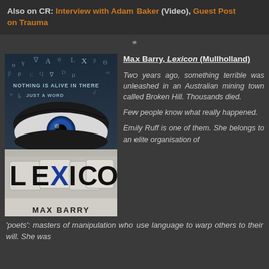Also on CR: Interview with Adam Baker (Video), Guest Post on Trauma
*
[Figure (photo): Book cover of 'Lexicon' by Max Barry, showing a close-up of a blue eye with symbols and letters floating around it, and the title LEXICON in large letters below.]
Max Barry, Lexicon (Mullholland)

Two years ago, something terrible was unleashed in an Australian mining town called Broken Hill. Thousands died.

Few people know what really happened.

Emily Ruff is one of them. She belongs to an elite organisation of
'poets': masters of manipulation who use language to warp others to their will. She was